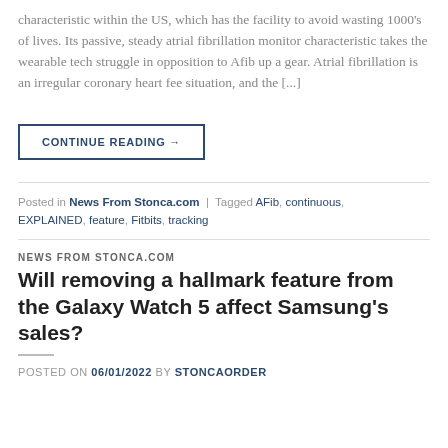characteristic within the US, which has the facility to avoid wasting 1000's of lives. Its passive, steady atrial fibrillation monitor characteristic takes the wearable tech struggle in opposition to Afib up a gear. Atrial fibrillation is an irregular coronary heart fee situation, and the [...]
CONTINUE READING →
Posted in News From Stonca.com | Tagged AFib, continuous, EXPLAINED, feature, Fitbits, tracking
NEWS FROM STONCA.COM
Will removing a hallmark feature from the Galaxy Watch 5 affect Samsung's sales?
POSTED ON 06/01/2022 BY STONCAORDER